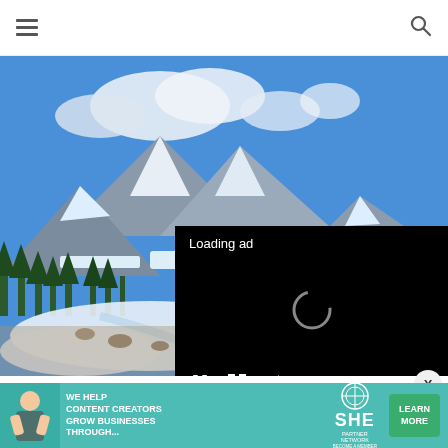Navigation header with hamburger menu and search icon
[Figure (photo): Mountain landscape with snow-capped peaks, evergreen trees, rocky stream and blue sky with clouds. A video ad overlay appears on the right side showing 'Loading ad' text with a spinner and playback controls.]
View right before reac...
[Figure (infographic): Advertisement banner: 'WE HELP CONTENT CREATORS GROW BUSINESSES THROUGH...' with SHE Partner Network logo and 'LEARN MORE' button on teal background.]